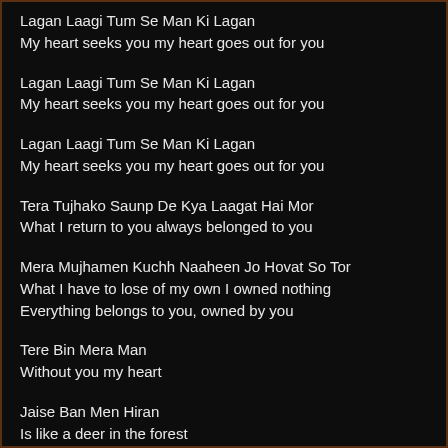Lagan Laagi Tum Se Man Ki Lagan
My heart seeks you my heart goes out for you
Lagan Laagi Tum Se Man Ki Lagan
My heart seeks you my heart goes out for you
Lagan Laagi Tum Se Man Ki Lagan
My heart seeks you my heart goes out for you
Tera Tujhako Saunp De Kya Laagat Hai Mor
What I return to you always belonged to you
Mera Mujhamen Kuchh Naaheen Jo Hovat So Tor
What I have to lose of my own I owned nothing
Everything belongs to you, owned by you
Tere Bin Mera Man
Without you my heart
Jaise Ban Men Hiran
Is like a deer in the forest
Jaise Pagali Pawan